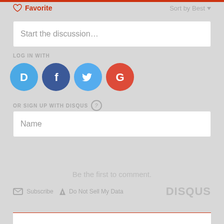[Figure (screenshot): Disqus comment widget UI showing Favorite button with heart icon, Sort by Best dropdown, Start the discussion input box, LOG IN WITH label, social login icons (Disqus D, Facebook F, Twitter bird, Google G), OR SIGN UP WITH DISQUS label with help icon, Name input field, Be the first to comment text, Subscribe and Do Not Sell My Data links, DISQUS logo branding, and red horizontal bars at top and bottom]
Favorite
Sort by Best
Start the discussion...
LOG IN WITH
OR SIGN UP WITH DISQUS
Name
Be the first to comment.
Subscribe   Do Not Sell My Data
DISQUS